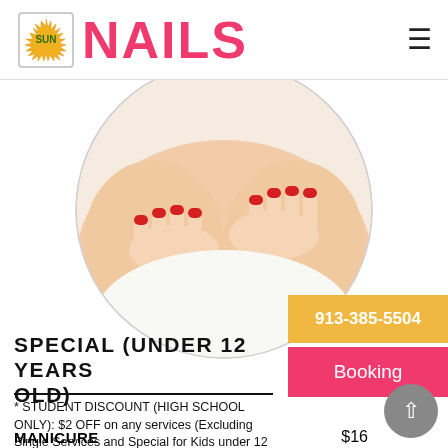SUN NAILS
[Figure (photo): Circular cropped photo showing a woman's hands and feet with red nail polish being held/massaged]
SPECIAL (UNDER 12 YEARS OLD)
* STUDENT DISCOUNT (HIGH SCHOOL ONLY): $2 OFF on any services (Excluding Single Services and Special for Kids under 12 years old)
MANICURE   $16